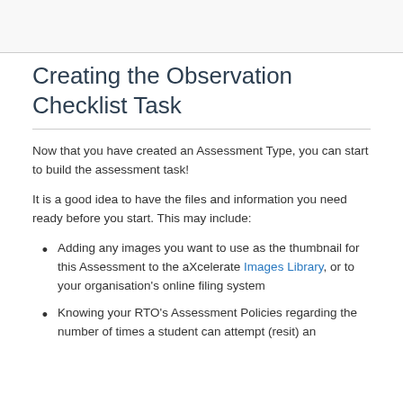Creating the Observation Checklist Task
Now that you have created an Assessment Type, you can start to build the assessment task!
It is a good idea to have the files and information you need ready before you start. This may include:
Adding any images you want to use as the thumbnail for this Assessment to the aXcelerate Images Library, or to your organisation's online filing system
Knowing your RTO's Assessment Policies regarding the number of times a student can attempt (resit) an